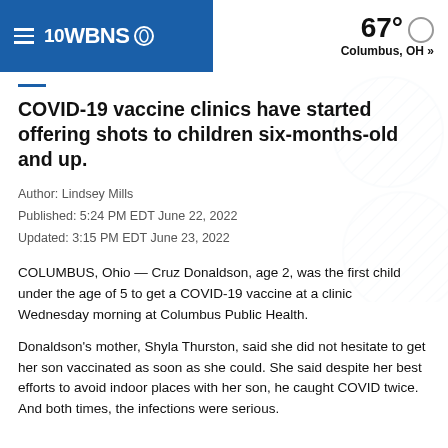10WBNS CBS — 67° Columbus, OH »
COVID-19 vaccine clinics have started offering shots to children six-months-old and up.
Author: Lindsey Mills
Published: 5:24 PM EDT June 22, 2022
Updated: 3:15 PM EDT June 23, 2022
COLUMBUS, Ohio — Cruz Donaldson, age 2, was the first child under the age of 5 to get a COVID-19 vaccine at a clinic Wednesday morning at Columbus Public Health.
Donaldson's mother, Shyla Thurston, said she did not hesitate to get her son vaccinated as soon as she could. She said despite her best efforts to avoid indoor places with her son, he caught COVID twice. And both times, the infections were serious.